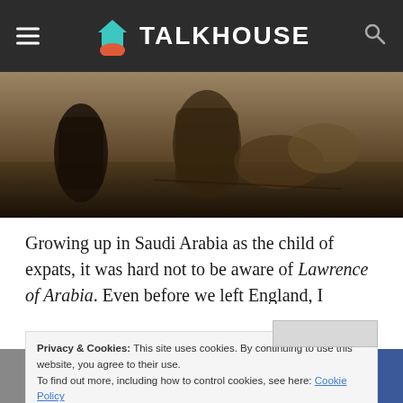TALKHOUSE
[Figure (photo): Hero image showing people on camels in a desert landscape, viewed from behind, muted warm tones]
Growing up in Saudi Arabia as the child of expats, it was hard not to be aware of Lawrence of Arabia. Even before we left England, I remember seeing snippets of the film: a strikingly blond-haired, blue-eyed man dressed in Arab
Privacy & Cookies: This site uses cookies. By continuing to use this website, you agree to their use.
To find out more, including how to control cookies, see here: Cookie Policy
Email | Twitter | Facebook